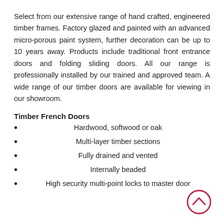Select from our extensive range of hand crafted, engineered timber frames. Factory glazed and painted with an advanced micro-porous paint system, further decoration can be up to 10 years away. Products include traditional front entrance doors and folding sliding doors. All our range is professionally installed by our trained and approved team. A wide range of our timber doors are available for viewing in our showroom.
Timber French Doors
Hardwood, softwood or oak
Multi-layer timber sections
Fully drained and vented
Internally beaded
High security multi-point locks to master door
[Figure (illustration): A circular scroll-to-top navigation button with a crimson/dark red outline circle and an upward-pointing chevron arrow inside, positioned in the bottom-right corner of the page.]